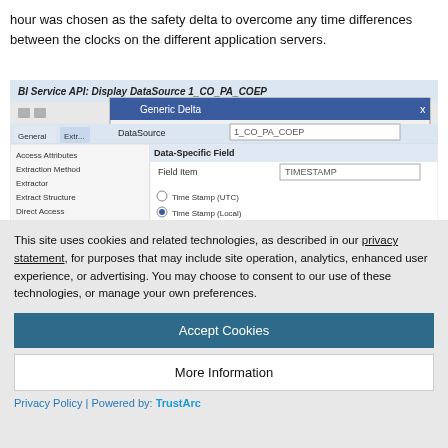hour was chosen as the safety delta to overcome any time differences between the clocks on the different application servers.
[Figure (screenshot): BI Service API: Display DataSource 1_CO_PA_COEP screenshot showing a Generic Delta dialog with DataSource field set to 1_CO_PA_COEP, Data-Specific Field section with Field Name TIMESTAMP, Time Stamp (UTC) and Time Stamp (Local) radio buttons.]
This site uses cookies and related technologies, as described in our privacy statement, for purposes that may include site operation, analytics, enhanced user experience, or advertising. You may choose to consent to our use of these technologies, or manage your own preferences.
Accept Cookies
More Information
Privacy Policy | Powered by: TrustArc